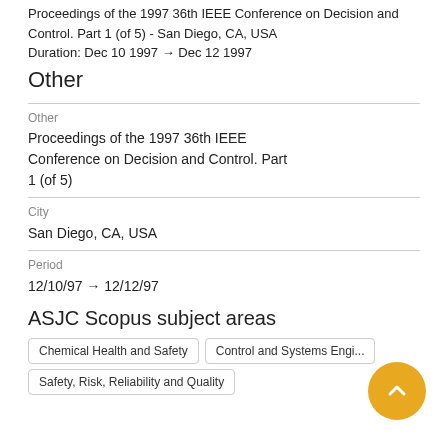Proceedings of the 1997 36th IEEE Conference on Decision and Control. Part 1 (of 5) - San Diego, CA, USA
Duration: Dec 10 1997 → Dec 12 1997
Other
Other
Proceedings of the 1997 36th IEEE Conference on Decision and Control. Part 1 (of 5)
City
San Diego, CA, USA
Period
12/10/97 → 12/12/97
ASJC Scopus subject areas
Chemical Health and Safety
Control and Systems Engin…
Safety, Risk, Reliability and Quality